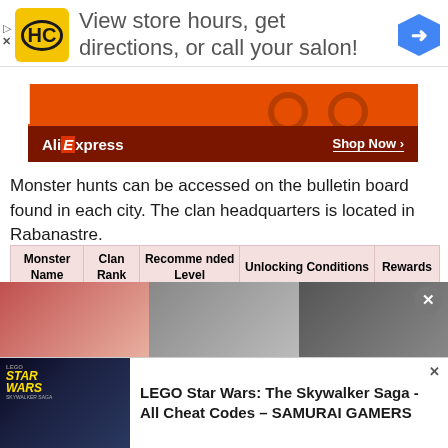[Figure (screenshot): Top ad banner with HC salon logo and text 'View store hours, get directions, or call your salon!' with a blue map arrow icon]
[Figure (screenshot): AliExpress advertisement banner with orange background and Shop Now button]
Monster hunts can be accessed on the bulletin board found in each city. The clan headquarters is located in Rabanastre.
| Monster Name | Clan Rank | Recommended Level | Unlocking Conditions | Rewards |
| --- | --- | --- | --- | --- |
| Yiazmat | Knight of the Round | 70 | · Complete Rank I to VII Mob Hunts
· Defeat the Hell ... | 30,000 gil, Godslayer Bla... |
[Figure (photo): Three partially visible faces/photos at bottom of page with a close button]
[Figure (screenshot): Bottom ad: LEGO Star Wars The Skywalker Saga - All Cheat Codes - SAMURAI GAMERS]